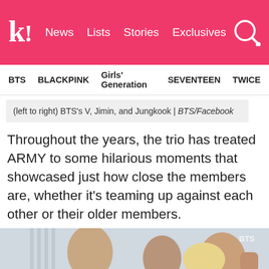k! News  Lists  Stories  Exclusives
BTS  BLACKPINK  Girls' Generation  SEVENTEEN  TWICE
(left to right) BTS's V, Jimin, and Jungkook | BTS/Facebook
Throughout the years, the trio has treated ARMY to some hilarious moments that showcased just how close the members are, whether it's teaming up against each other or their older members.
[Figure (photo): BTS members V, Jimin, and Jungkook in a playful moment; video with play button overlay. BTS logo visible in top right corner.]